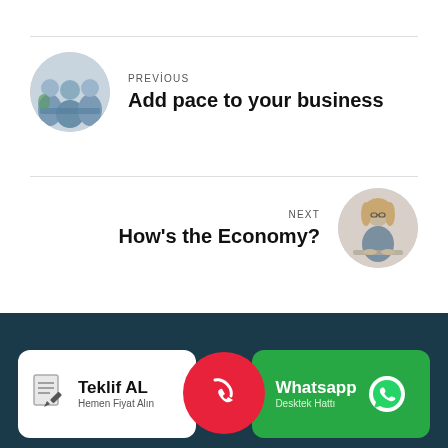PREVIOUS
Add pace to your business
NEXT
How's the Economy?
[Figure (other): Business meeting group photo in circle]
[Figure (other): Business woman photo in circle]
Teklif AL
Hemen Fiyat Alın
[Figure (other): Phone icon red circle]
Whatsapp
Desktek Hattı